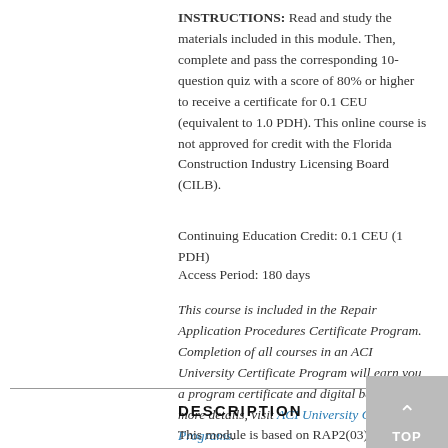INSTRUCTIONS: Read and study the materials included in this module. Then, complete and pass the corresponding 10-question quiz with a score of 80% or higher to receive a certificate for 0.1 CEU (equivalent to 1.0 PDH). This online course is not approved for credit with the Florida Construction Industry Licensing Board (CILB).
Continuing Education Credit: 0.1 CEU (1 PDH)
Access Period: 180 days
This course is included in the Repair Application Procedures Certificate Program. Completion of all courses in an ACI University Certificate Program will earn you a program certificate and digital badge. For more details, visit ACI University Certificate Programs.
DESCRIPTION
This module is based on RAP2(03)- Crack Repair by Gravity Feed with Resin. The document is